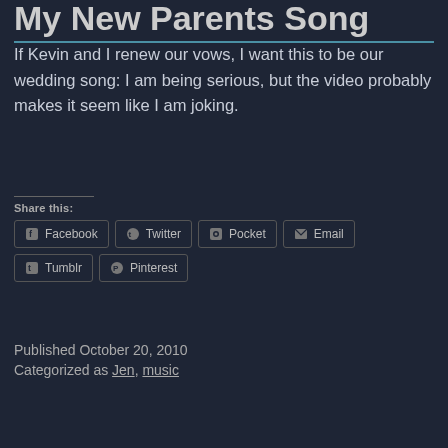My New Parents Song
If Kevin and I renew our vows, I want this to be our wedding song: I am being serious, but the video probably makes it seem like I am joking.
Share this:
Facebook  Twitter  Pocket  Email  Tumblr  Pinterest
Published October 20, 2010
Categorized as Jen, music